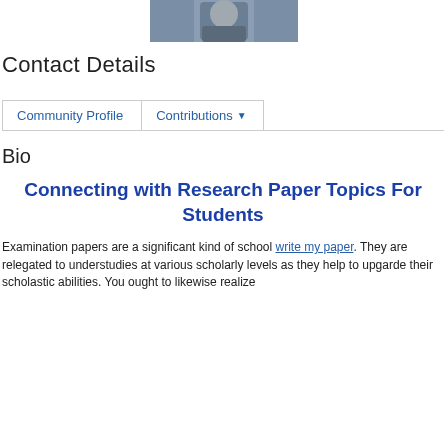[Figure (photo): Profile photo of a person, partially cropped at top of page]
Contact Details
Community Profile | Contributions
Bio
Connecting with Research Paper Topics For Students
Examination papers are a significant kind of school write my paper. They are relegated to understudies at various scholarly levels as they help to upgarde their scholastic abilities. You ought to likewise realize